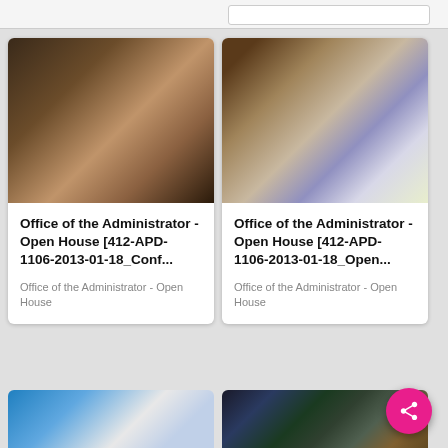[Figure (screenshot): Mobile app screenshot showing a grid of video/media cards for 'Office of the Administrator - Open House' government content]
Office of the Administrator - Open House [412-APD-1106-2013-01-18_Conf...
Office of the Administrator - Open House
Office of the Administrator - Open House [412-APD-1106-2013-01-18_Open...
Office of the Administrator - Open House